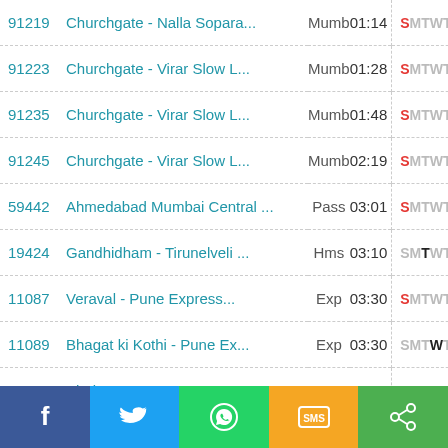| No. | Name | Type | Time | S | M | T | W | T | F | S |
| --- | --- | --- | --- | --- | --- | --- | --- | --- | --- | --- |
| 91219 | Churchgate - Nalla Sopara... | Mumb | 01:14 | S | M | T | W | T | F | S |
| 91223 | Churchgate - Virar Slow L... | Mumb | 01:28 | S | M | T | W | T | F | S |
| 91235 | Churchgate - Virar Slow L... | Mumb | 01:48 | S | M | T | W | T | F | S |
| 91245 | Churchgate - Virar Slow L... | Mumb | 02:19 | S | M | T | W | T | F | S |
| 59442 | Ahmedabad Mumbai Central ... | Pass | 03:01 | S | M | T | W | T | F | S |
| 19424 | Gandhidham - Tirunelveli ... | Hms | 03:10 | S | M | T | W | T | F | S |
| 11087 | Veraval - Pune Express... | Exp | 03:30 | S | M | T | W | T | F | S |
| 11089 | Bhagat ki Kothi - Pune Ex... | Exp | 03:30 | S | M | T | W | T | F | S |
| 11091 | Bhuj - Pune Express | Exp | 03:30 | S | M | T | W | T | F | S |
| 22185 | Ahmedabad - Pune Ahimsa S... | SF | 03:30 | S | M | T | W | T | F | S |
| 11049 | Ahmedabad - SCSMT Kolhapu... | Exp | 03:30 | S | M | T | W | T | F | S |
| 12450 | Goa Sampark Kranti Expres... | SKr | 03:35 | S | M | T | W | T | F | S |